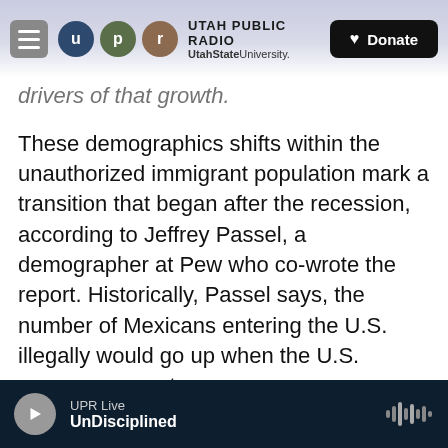UTAH PUBLIC RADIO | UtahState University | Donate
drivers of that growth.
These demographics shifts within the unauthorized immigrant population mark a transition that began after the recession, according to Jeffrey Passel, a demographer at Pew who co-wrote the report. Historically, Passel says, the number of Mexicans entering the U.S. illegally would go up when the U.S. economy was strong.
"That kind of explanation fit very well from 1990 through 2009," he adds. "Since 2009, though, the number of Mexicans has continued to fall and the unemployment situation in the U.S. has continued
UPR Live | UnDisciplined